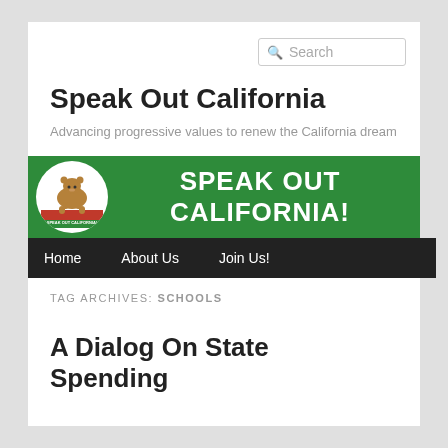Search
Speak Out California
Advancing progressive values to renew the California dream
[Figure (logo): Speak Out California banner with green background, circular bear logo on left, and 'SPEAK OUT CALIFORNIA!' text in white on right, with black navigation bar below showing Home, About Us, Join Us!]
TAG ARCHIVES: SCHOOLS
A Dialog On State Spending